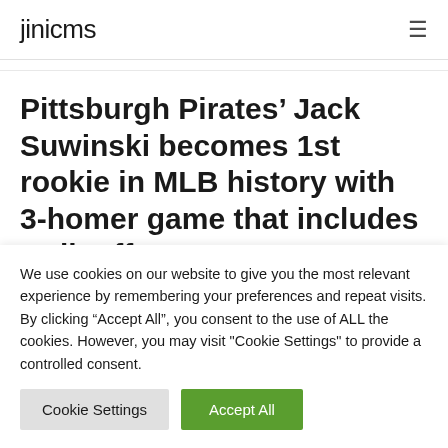jinicms
Pittsburgh Pirates’ Jack Suwinski becomes 1st rookie in MLB history with 3-homer game that includes walk-off
We use cookies on our website to give you the most relevant experience by remembering your preferences and repeat visits. By clicking “Accept All”, you consent to the use of ALL the cookies. However, you may visit "Cookie Settings" to provide a controlled consent.